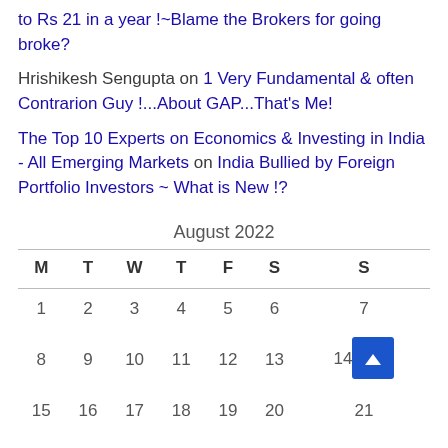to Rs 21 in a year !~Blame the Brokers for going broke?
Hrishikesh Sengupta on 1 Very Fundamental & often Contrarion Guy !...About GAP...That's Me!
The Top 10 Experts on Economics & Investing in India - All Emerging Markets on India Bullied by Foreign Portfolio Investors ~ What is New !?
| M | T | W | T | F | S | S |
| --- | --- | --- | --- | --- | --- | --- |
| 1 | 2 | 3 | 4 | 5 | 6 | 7 |
| 8 | 9 | 10 | 11 | 12 | 13 | 14 |
| 15 | 16 | 17 | 18 | 19 | 20 | 21 |